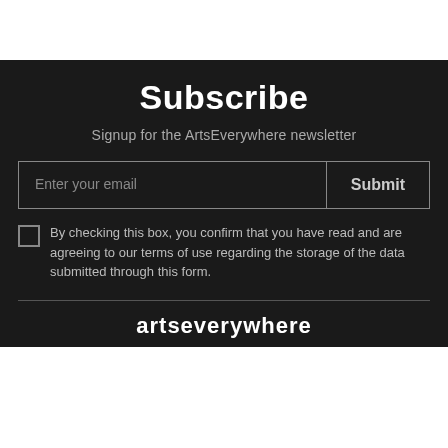Subscribe
Signup for the ArtsEverywhere newsletter
Enter your email
Submit
By checking this box, you confirm that you have read and are agreeing to our terms of use regarding the storage of the data submitted through this form.
artseverywhere